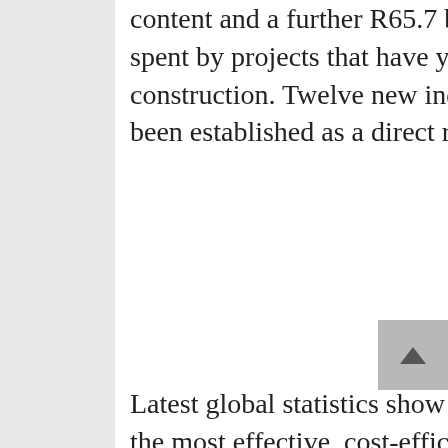content and a further R65.7 billion is expected to be spent by projects that have yet to commence construction. Twelve new industrial facilities have been established as a direct result of the programme.
Latest global statistics show renewables emerging as the most effective, cost-efficient energy supply option, which also addresses the dire consequences of climate change. A recent International Renewable Energy Agency report showed that wind power is already the cheapest new build option in South Africa (and many other countries). The